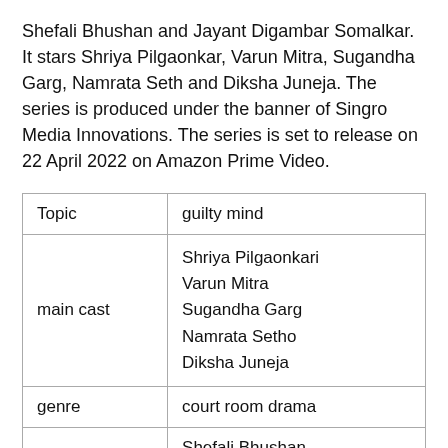Shefali Bhushan and Jayant Digambar Somalkar. It stars Shriya Pilgaonkar, Varun Mitra, Sugandha Garg, Namrata Seth and Diksha Juneja. The series is produced under the banner of Singro Media Innovations. The series is set to release on 22 April 2022 on Amazon Prime Video.
| Topic | guilty mind |
| main cast | Shriya Pilgaonkari
Varun Mitra
Sugandha Garg
Namrata Setho
Diksha Juneja |
| genre | court room drama |
|  | Shefali Bhushan |